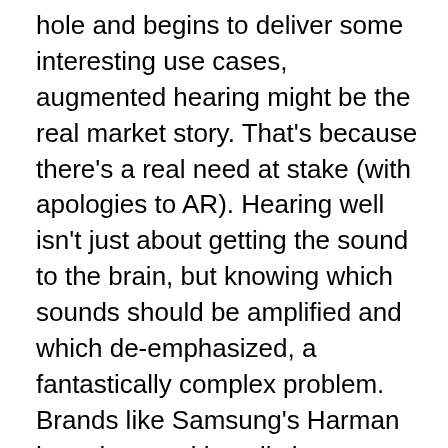hole and begins to deliver some interesting use cases, augmented hearing might be the real market story. That's because there's a real need at stake (with apologies to AR). Hearing well isn't just about getting the sound to the brain, but knowing which sounds should be amplified and which de-emphasized, a fantastically complex problem. Brands like Samsung's Harman have invested heavily in augmented hearing capable of isolating conversations in noisy environments, and technologies like machine learning and Deep Neural Networks, which simulate the brain's neural connections to learn without programming, are being applied to hearing assistance technologies to help cut through the dynamic, cluttered noise of